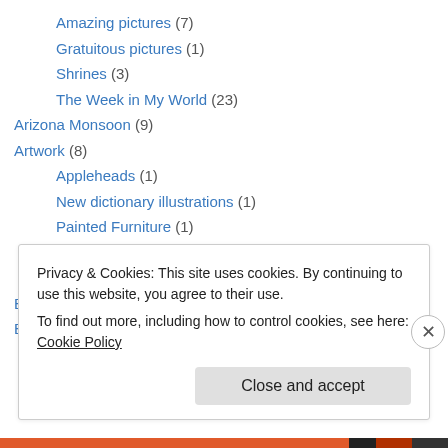Amazing pictures (7)
Gratuitous pictures (1)
Shrines (3)
The Week in My World (23)
Arizona Monsoon (9)
Artwork (8)
Appleheads (1)
New dictionary illustrations (1)
Painted Furniture (1)
Paintings and Drawings by Debra (1)
Wreaths (1)
Birds (8)
Blogging (23)
Privacy & Cookies: This site uses cookies. By continuing to use this website, you agree to their use. To find out more, including how to control cookies, see here: Cookie Policy